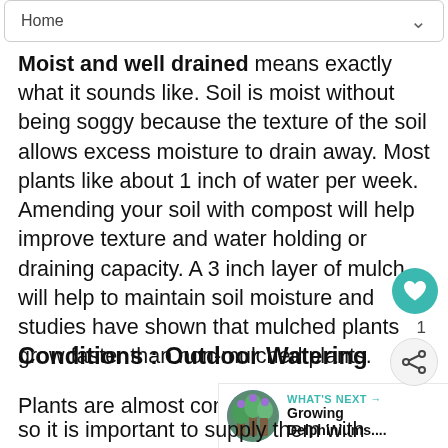Home
Moist and well drained means exactly what it sounds like. Soil is moist without being soggy because the texture of the soil allows excess moisture to drain away. Most plants like about 1 inch of water per week. Amending your soil with compost will help improve texture and water holding or draining capacity. A 3 inch layer of mulch will help to maintain soil moisture and studies have shown that mulched plants grow faster than non-mulched plants.
Conditions : Outdoor Watering
Plants are almost completely made so it is important to supply them with adequate